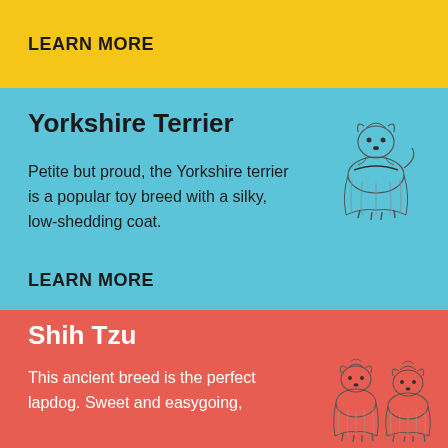LEARN MORE
Yorkshire Terrier
Petite but proud, the Yorkshire terrier is a popular toy breed with a silky, low-shedding coat.
LEARN MORE
[Figure (illustration): Illustration of a Yorkshire Terrier dog standing, showing long silky coat]
Shih Tzu
This ancient breed is the perfect lapdog. Sweet and easygoing,
[Figure (illustration): Illustration of two Shih Tzu dogs standing, showing long flowing coats]